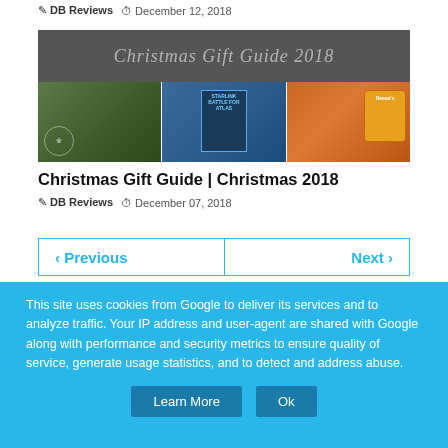✎ DB Reviews  ⏱ December 12, 2018
[Figure (photo): Christmas Gift Guide 2018 banner image with three product photos: a dark floral arrangement, Starlink video game box, and Reese's candy products]
Christmas Gift Guide | Christmas 2018
✎ DB Reviews  ⏱ December 07, 2018
‹ Previous   Next ›
This site uses cookies from Google to deliver its services and to analyze traffic. Your IP address and user-agent are shared with Google along with performance and security metrics to ensure quality of service, generate usage statistics, and to detect and address abuse.
Learn More   Ok